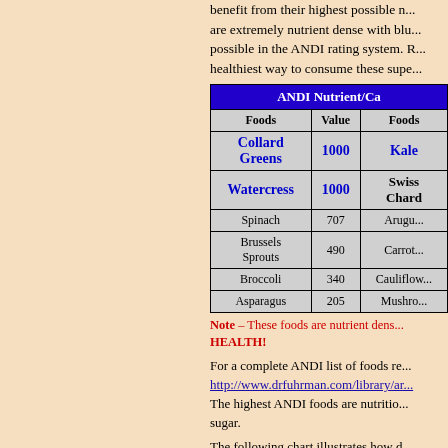benefit from their highest possible n... are extremely nutrient dense with blu... possible in the ANDI rating system. ... healthiest way to consume these supe...
| Foods | Value | Foods |
| --- | --- | --- |
| Collard Greens | 1000 | Kale |
| Watercress | 1000 | Swiss Chard |
| Spinach | 707 | Arugula |
| Brussels Sprouts | 490 | Carrot |
| Broccoli | 340 | Cauliflower |
| Asparagus | 205 | Mushroom |
Note – These foods are nutrient dens... HEALTH!
For a complete ANDI list of foods re... http://www.drfuhrman.com/library/a... The highest ANDI foods are nutritio... sugar.
The following chart illustrates how d...